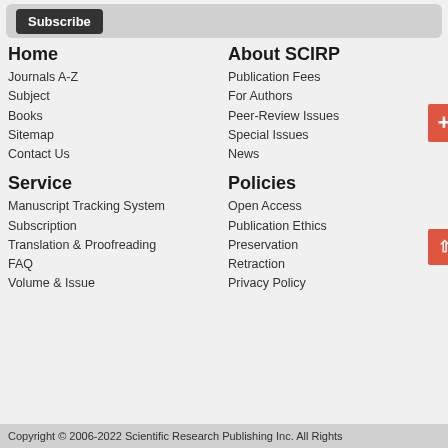Subscribe
Home
Journals A-Z
Subject
Books
Sitemap
Contact Us
About SCIRP
Publication Fees
For Authors
Peer-Review Issues
Special Issues
News
Service
Manuscript Tracking System
Subscription
Translation & Proofreading
FAQ
Volume & Issue
Policies
Open Access
Publication Ethics
Preservation
Retraction
Privacy Policy
Copyright © 2006-2022 Scientific Research Publishing Inc. All Rights